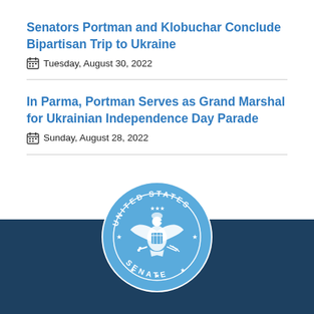Senators Portman and Klobuchar Conclude Bipartisan Trip to Ukraine
Tuesday, August 30, 2022
In Parma, Portman Serves as Grand Marshal for Ukrainian Independence Day Parade
Sunday, August 28, 2022
[Figure (logo): United States Senate seal in light blue on dark navy background]